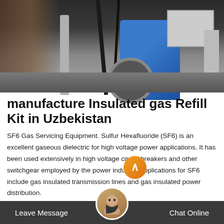[Figure (photo): Industrial photo showing SF6 gas servicing equipment with pipes, cables, a large blue cylindrical component, and metal flanges in an industrial setting]
manufacture Insulated gas Refill Kit in Uzbekistan
SF6 Gas Servicing Equipment. Sulfur Hexafluoride (SF6) is an excellent gaseous dielectric for high voltage power applications. It has been used extensively in high voltage circuit breakers and other switchgear employed by the power industry. Applications for SF6 include gas insulated transmission lines and gas insulated power distribution.
Leave Message   Chat Online